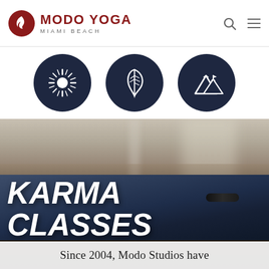MODO YOGA MIAMI BEACH
[Figure (logo): Modo Yoga Miami Beach logo with flame icon in dark red circle and text]
[Figure (illustration): Three dark navy circular icons: sunburst/rays, feather/leaf, mountain peaks]
[Figure (photo): Yoga studio interior with yoga mat in foreground, blurred background showing floor and column]
KARMA CLASSES
Since 2004, Modo Studios have